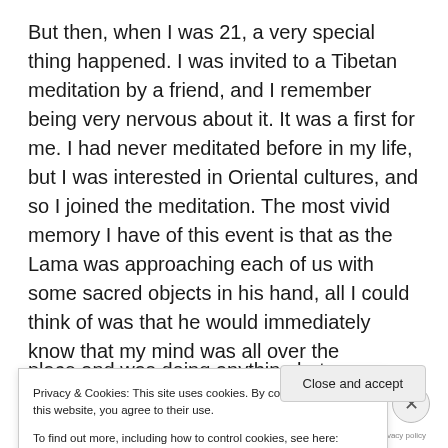But then, when I was 21, a very special thing happened. I was invited to a Tibetan meditation by a friend, and I remember being very nervous about it. It was a first for me. I had never meditated before in my life, but I was interested in Oriental cultures, and so I joined the meditation. The most vivid memory I have of this event is that as the Lama was approaching each of us with some sacred objects in his hand, all I could think of was that he would immediately know that my mind was all over the place and was doing anything but meditating. So when it
Privacy & Cookies: This site uses cookies. By continuing to use this website, you agree to their use.
To find out more, including how to control cookies, see here: Cookie Policy